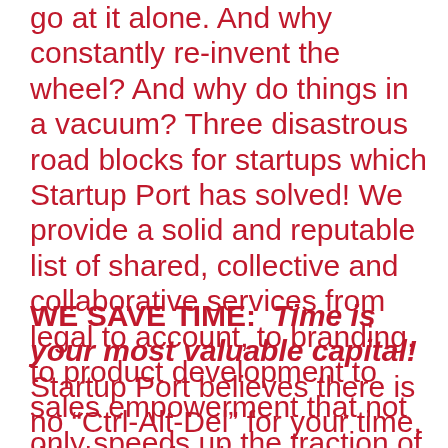go at it alone. And why constantly re-invent the wheel? And why do things in a vacuum? Three disastrous road blocks for startups which Startup Port has solved! We provide a solid and reputable list of shared, collective and collaborative services from legal to account, to branding, to product development to sales empowerment that not only speeds up the traction of the startups but reduces the costs of such services by 50% to 75%
WE SAVE TIME: Time is your most valuable capital! Startup Port believes there is no “Ctrl-Alt-Del” for your time, this is our fundamental philosophy. Thus, we push startup founders to speed up their process to success by implementing the Sprint 90 Program... W